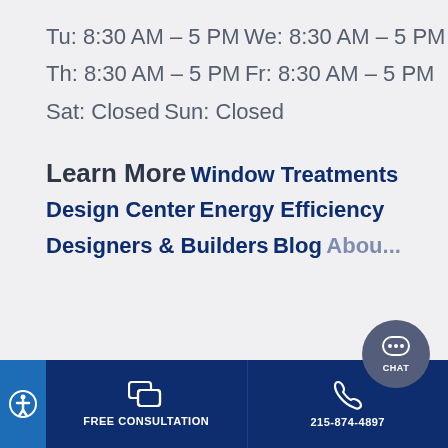Tu: 8:30 AM – 5 PM
We: 8:30 AM – 5 PM
Th: 8:30 AM – 5 PM
Fr: 8:30 AM – 5 PM
Sat: Closed
Sun: Closed
Learn More
Window Treatments
Design Center
Energy Efficiency
Designers & Builders
Blog
FREE CONSULTATION | 215-874-4897